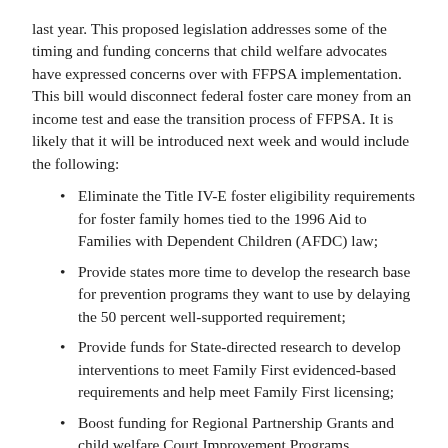last year. This proposed legislation addresses some of the timing and funding concerns that child welfare advocates have expressed concerns over with FFPSA implementation. This bill would disconnect federal foster care money from an income test and ease the transition process of FFPSA. It is likely that it will be introduced next week and would include the following:
Eliminate the Title IV-E foster eligibility requirements for foster family homes tied to the 1996 Aid to Families with Dependent Children (AFDC) law;
Provide states more time to develop the research base for prevention programs they want to use by delaying the 50 percent well-supported requirement;
Provide funds for State-directed research to develop interventions to meet Family First evidenced-based requirements and help meet Family First licensing;
Boost funding for Regional Partnership Grants and child welfare Court Improvement Programs.
We have previously reported on another bill that would help ease the FFPSA transition. Senators Rubio (R-Fla.) and Feinstein (D-